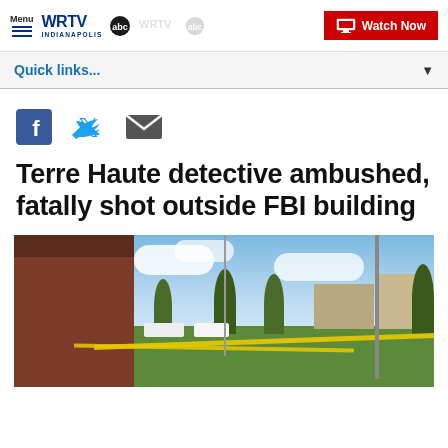WRTV INDIANAPOLIS | abc | Watch Now
Quick links...
[Figure (infographic): Social media share icons: Facebook, Twitter, Email]
Terre Haute detective ambushed, fatally shot outside FBI building
[Figure (photo): Outdoor scene showing a brick building exterior on the left, grass, trees, blue sky with clouds, yellow crime scene tape on the ground, and multi-story buildings in the background at an FBI building in Terre Haute.]